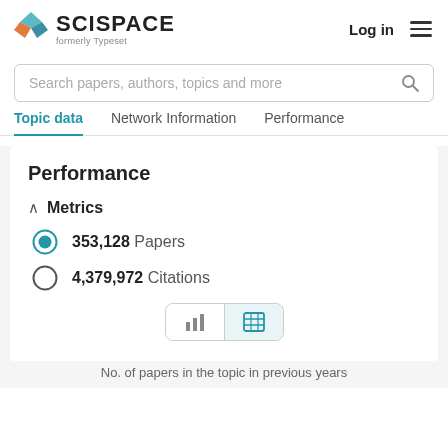[Figure (logo): SciSpace logo with cube icon and text 'SCISPACE formerly Typeset']
Log in
Search papers, authors, topics and more
Topic data   Network Information   Performance
Performance
Metrics
353,128 Papers
4,379,972 Citations
No. of papers in the topic in previous years